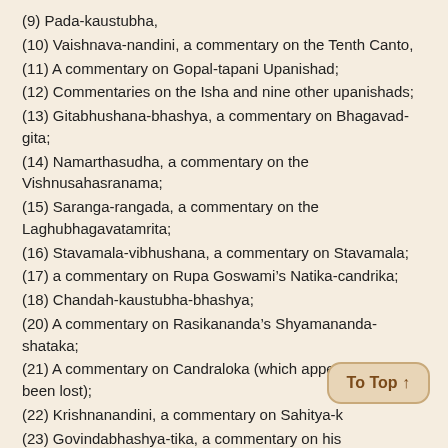(9) Pada-kaustubha,
(10) Vaishnava-nandini, a commentary on the Tenth Canto,
(11) A commentary on Gopal-tapani Upanishad;
(12) Commentaries on the Isha and nine other upanishads;
(13) Gitabhushana-bhashya, a commentary on Bhagavad-gita;
(14) Namarthasudha, a commentary on the Vishnusahasranama;
(15) Saranga-rangada, a commentary on the Laghubhagavatamrita;
(16) Stavamala-vibhushana, a commentary on Stavamala;
(17) a commentary on Rupa Goswami’s Natika-candrika;
(18) Chandah-kaustubha-bhashya;
(20) A commentary on Rasikananda’s Shyamananda-shataka;
(21) A commentary on Candraloka (which appears to have been lost);
(22) Krishnanandini, a commentary on Sahitya-k…
(23) Govindabhashya-tika, a commentary on his…
Govinda-bhashya;